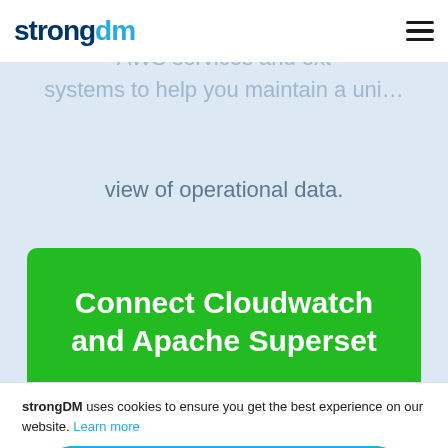strongdm [logo] [hamburger menu]
Amazon CloudWatch. CloudWatch AWS services and ext systems to help you maintain a uni... view of operational data.
Connect Cloudwatch and Apache Superset
14-day free trial, no credit card required.
strongDM uses cookies to ensure you get the best experience on our website. Learn more
Got it!